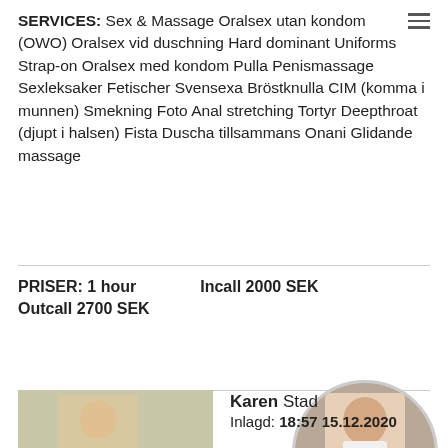SERVICES: Sex & Massage Oralsex utan kondom (OWO) Oralsex vid duschning Hard dominant Uniforms Strap-on Oralsex med kondom Pulla Penismassage Sexleksaker Fetischer Svensexa Bröstknulla CIM (komma i munnen) Smekning Foto Anal stretching Tortyr Deepthroat (djupt i halsen) Fista Duscha tillsammans Onani Glidande massage
PRISER: 1 hour   Incall 2000 SEK
Outcall 2700 SEK
Prioritetsannons
[Figure (photo): Circular cropped photo of a woman]
[Figure (photo): Photo of a blonde woman (bottom left)]
Karen Stad
Inlagd: 18:57 15.12.2020